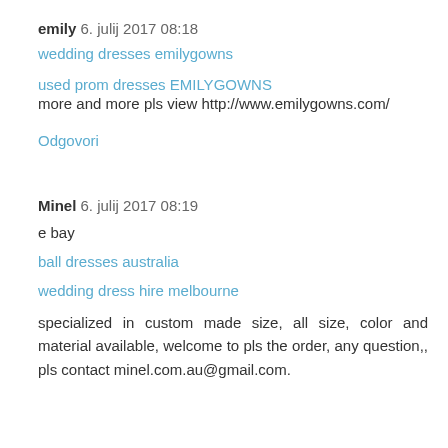emily  6. julij 2017 08:18
wedding dresses emilygowns
used prom dresses EMILYGOWNS
more and more pls view http://www.emilygowns.com/
Odgovori
Minel  6. julij 2017 08:19
e bay
ball dresses australia
wedding dress hire melbourne
specialized in custom made size, all size, color and material available, welcome to pls the order, any question,, pls contact minel.com.au@gmail.com.